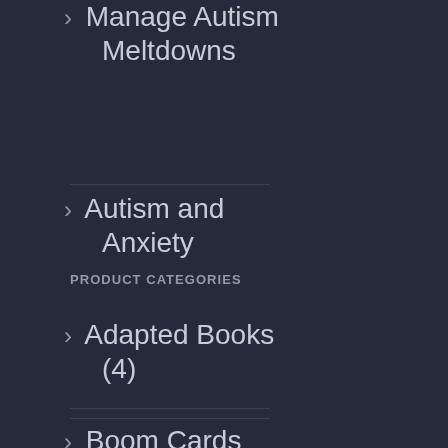Manage Autism Meltdowns
Autism and Anxiety
PRODUCT CATEGORIES
Adapted Books (4)
Boom Cards